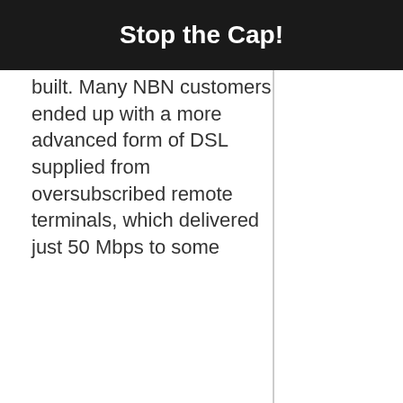Stop the Cap!
built. Many NBN customers ended up with a more advanced form of DSL supplied from oversubscribed remote terminals, which delivered just 50 Mbps to some